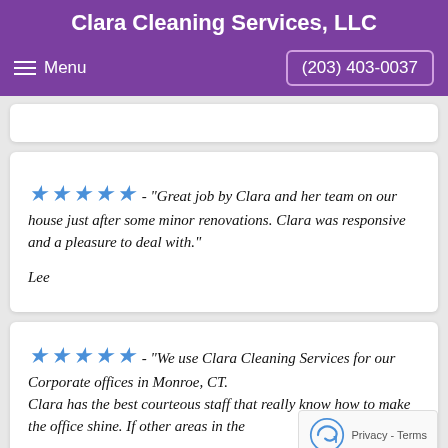Clara Cleaning Services, LLC
Menu   (203) 403-0037
★★★★★ - "Great job by Clara and her team on our house just after some minor renovations. Clara was responsive and a pleasure to deal with."

Lee
★★★★★ - "We use Clara Cleaning Services for our Corporate offices in Monroe, CT.
Clara has the best courteous staff that really know how to make the office shine. If other areas in the